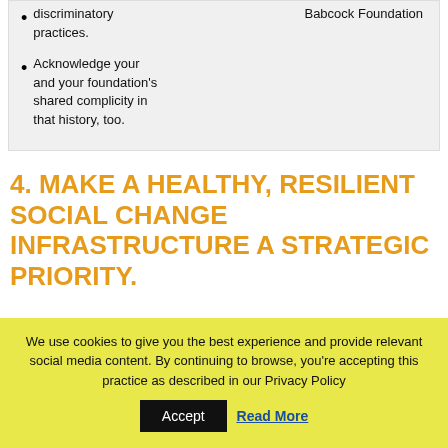discriminatory practices.
Babcock Foundation
Acknowledge your and your foundation's shared complicity in that history, too.
4. MAKE A HEALTHY, RESILIENT SOCIAL CHANGE INFRASTRUCTURE A STRATEGIC PRIORITY.
We use cookies to give you the best experience and provide relevant social media content. By continuing to browse, you're accepting this practice as described in our Privacy Policy
Accept
Read More